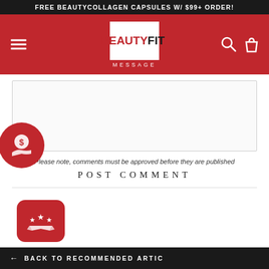FREE BEAUTYCOLLAGEN CAPSULES W/ $99+ ORDER!
[Figure (screenshot): BeautyFit website header with red background, hamburger menu icon on left, BeautyFit logo in white box center, search and bag icons on right, MESSAGE label below logo]
Please note, comments must be approved before they are published
POST COMMENT
[Figure (illustration): Red rounded square badge with star rating ribbon icon]
← BACK TO RECOMMENDED ARTIC